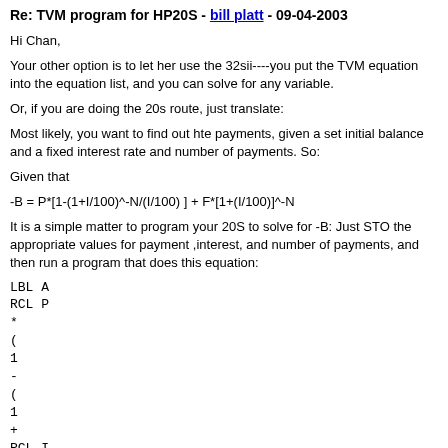Re: TVM program for HP20S - bill platt - 09-04-2003
Hi Chan,
Your other option is to let her use the 32sii----you put the TVM equation into the equation list, and you can solve for any variable.
Or, if you are doing the 20s route, just translate:
Most likely, you want to find out hte payments, given a set initial balance and a fixed interest rate and number of payments. So:
Given that
It is a simple matter to program your 20S to solve for -B: Just STO the appropriate values for payment ,interest, and number of payments, and then run a program that does this equation:
LBL A
RCL P
*
(
1
-
(
1
+
RCL I
/